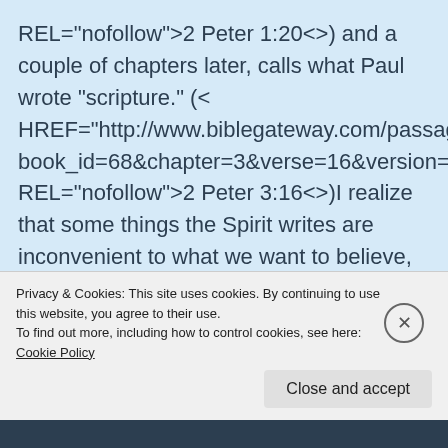REL="nofollow">2 Peter 1:20<>) and a couple of chapters later, calls what Paul wrote "scripture." (< HREF="http://www.biblegateway.com/passage/?book_id=68&chapter=3&verse=16&version=31&con REL="nofollow">2 Peter 3:16<>)I realize that some things the Spirit writes are inconvenient to what we want to believe, laymond – at least that's true for me. But I have to go with scripture, and use the judgment God gives me to interpret it in my own life, by what I do as well as
Privacy & Cookies: This site uses cookies. By continuing to use this website, you agree to their use.
To find out more, including how to control cookies, see here: Cookie Policy
Close and accept